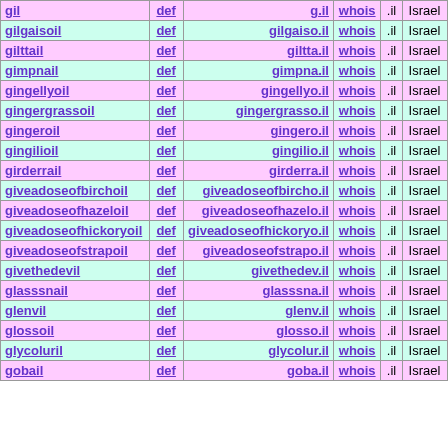| name | def | domain | whois | tld | country |
| --- | --- | --- | --- | --- | --- |
| gil | def | g.il | whois | .il | Israel |
| gilgaisoil | def | gilgaiso.il | whois | .il | Israel |
| gilttail | def | giltta.il | whois | .il | Israel |
| gimpnail | def | gimpna.il | whois | .il | Israel |
| gingellyoil | def | gingellyo.il | whois | .il | Israel |
| gingergrassoil | def | gingergrasso.il | whois | .il | Israel |
| gingeroil | def | gingero.il | whois | .il | Israel |
| gingilioil | def | gingilio.il | whois | .il | Israel |
| girderrail | def | girderra.il | whois | .il | Israel |
| giveadoseofbirchoil | def | giveadoseofbircho.il | whois | .il | Israel |
| giveadoseofhazeloil | def | giveadoseofhazelo.il | whois | .il | Israel |
| giveadoseofhickoryoil | def | giveadoseofhickoryo.il | whois | .il | Israel |
| giveadoseofstrapoil | def | giveadoseofstrapo.il | whois | .il | Israel |
| givethedevil | def | givethedev.il | whois | .il | Israel |
| glasssnail | def | glasssna.il | whois | .il | Israel |
| glenvil | def | glenv.il | whois | .il | Israel |
| glossoil | def | glosso.il | whois | .il | Israel |
| glycoluril | def | glycolur.il | whois | .il | Israel |
| gobail | def | goba.il | whois | .il | Israel |